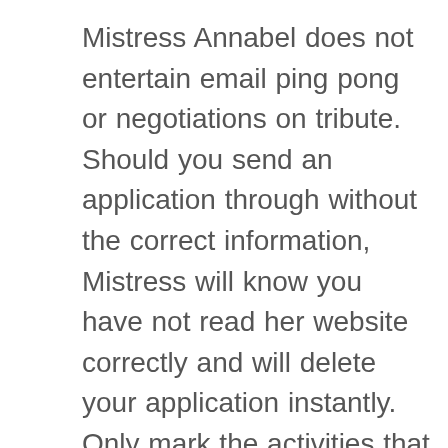Mistress Annabel does not entertain email ping pong or negotiations on tribute. Should you send an application through without the correct information, Mistress will know you have not read her website correctly and will delete your application instantly. Only mark the activities that you have experience in and wish to experience again. Any activities or fetishes you would like to try must be shown in the box marked fetishes. All applicants must be spoken to on the telephone to assess their needs and compatibility with Mistress Annabel before any appointment may be granted. Mistress Annabel is only interested in safe, sane encounters.  There is a zero tolerance to alcohol or drug use. If you are found to be under the influence, you will be asked to leave. Tribute will NOT be